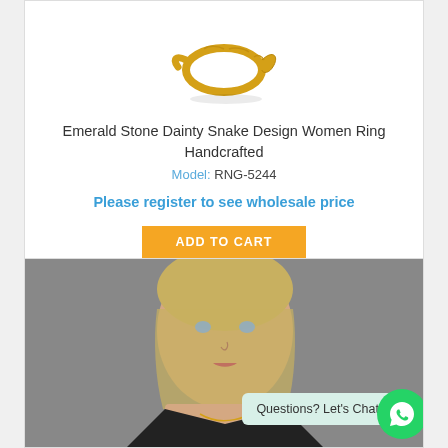[Figure (photo): Gold snake design ring on white background, partially cropped at top]
Emerald Stone Dainty Snake Design Women Ring Handcrafted
Model: RNG-5244
Please register to see wholesale price
ADD TO CART
[Figure (photo): Young woman with blonde hair and light eyes wearing a necklace, shot from shoulders up against gray background]
Questions? Let's Chat